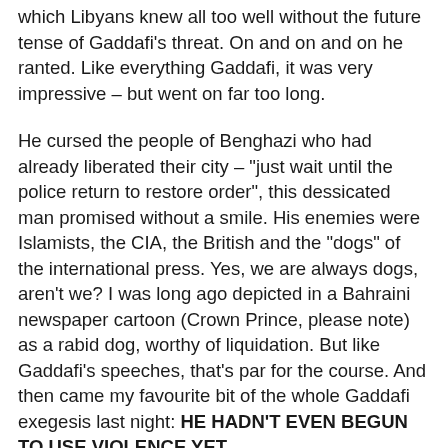which Libyans knew all too well without the future tense of Gaddafi's threat. On and on and on he ranted. Like everything Gaddafi, it was very impressive – but went on far too long.
He cursed the people of Benghazi who had already liberated their city – "just wait until the police return to restore order", this dessicated man promised without a smile. His enemies were Islamists, the CIA, the British and the "dogs" of the international press. Yes, we are always dogs, aren't we? I was long ago depicted in a Bahraini newspaper cartoon (Crown Prince, please note) as a rabid dog, worthy of liquidation. But like Gaddafi's speeches, that's par for the course. And then came my favourite bit of the whole Gaddafi exegesis last night: HE HADN'T EVEN BEGUN TO USE VIOLENCE YET.
So far so good...Fisk is pretty accurately describing Gaddafi's rant (although when watching it, the word "impressive" is certainly not one I would have used.)